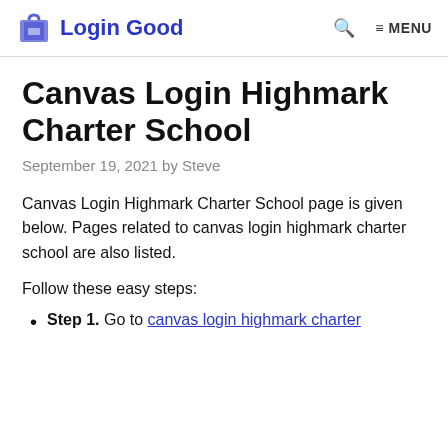Login Good
Canvas Login Highmark Charter School
September 19, 2021 by Steve
Canvas Login Highmark Charter School page is given below. Pages related to canvas login highmark charter school are also listed.
Follow these easy steps:
Step 1. Go to canvas login highmark charter school's official link below.